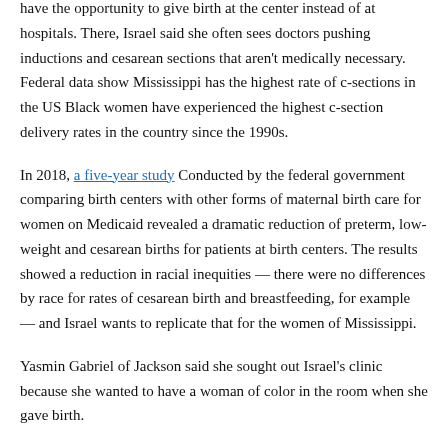have the opportunity to give birth at the center instead of at hospitals. There, Israel said she often sees doctors pushing inductions and cesarean sections that aren't medically necessary. Federal data show Mississippi has the highest rate of c-sections in the US Black women have experienced the highest c-section delivery rates in the country since the 1990s.
In 2018, a five-year study Conducted by the federal government comparing birth centers with other forms of maternal birth care for women on Medicaid revealed a dramatic reduction of preterm, low-weight and cesarean births for patients at birth centers. The results showed a reduction in racial inequities — there were no differences by race for rates of cesarean birth and breastfeeding, for example — and Israel wants to replicate that for the women of Mississippi.
Yasmin Gabriel of Jackson said she sought out Israel's clinic because she wanted to have a woman of color in the room when she gave birth.